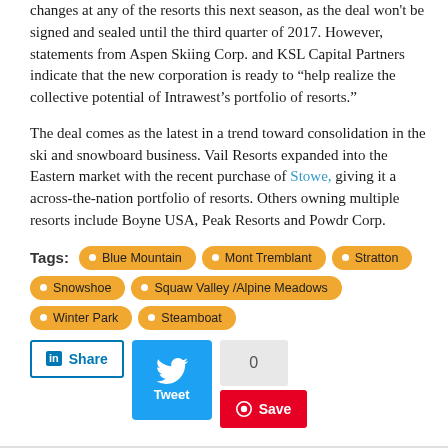changes at any of the resorts this next season, as the deal won't be signed and sealed until the third quarter of 2017. However, statements from Aspen Skiing Corp. and KSL Capital Partners indicate that the new corporation is ready to “help realize the collective potential of Intrawest’s portfolio of resorts.”
The deal comes as the latest in a trend toward consolidation in the ski and snowboard business. Vail Resorts expanded into the Eastern market with the recent purchase of Stowe, giving it a across-the-nation portfolio of resorts. Others owning multiple resorts include Boyne USA, Peak Resorts and Powdr Corp.
Tags: Blue Mountain, Mont Tremblant, Stratton, Snowshoe, Squaw Valley/Alpine Meadows, Winter Park, Steamboat
[Figure (screenshot): Social share buttons: LinkedIn Share, Tweet button, count box showing 0, Save button]